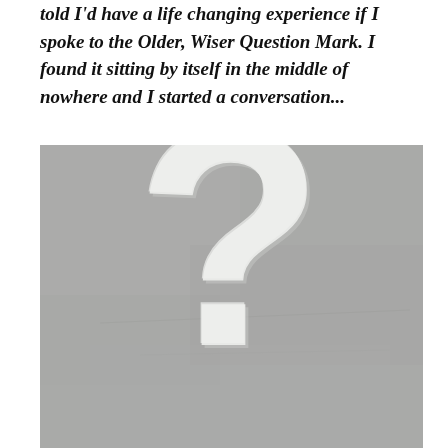told I'd have a life changing experience if I spoke to the Older, Wiser Question Mark. I found it sitting by itself in the middle of nowhere and I started a conversation...
[Figure (photo): A photograph of a large white question mark symbol on a grey/concrete surface background, photographed from above or at an angle.]